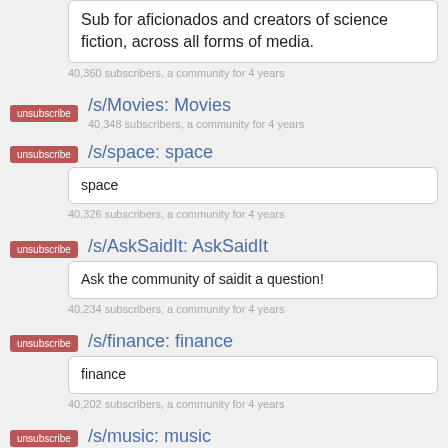Sub for aficionados and creators of science fiction, across all forms of media.
40,360 subscribers, a community for 4 years
/s/Movies: Movies
40,348 subscribers, a community for 4 years
/s/space: space
space
40,326 subscribers, a community for 4 years
/s/AskSaidIt: AskSaidIt
Ask the community of saidit a question!
40,234 subscribers, a community for 4 years
/s/finance: finance
finance
40,202 subscribers, a community for 4 years
/s/music: music